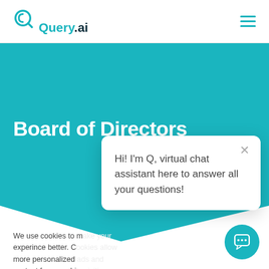[Figure (logo): Query.ai logo with teal color in navigation bar]
Board of Directors
We use cookies to make your experince better. Cookies allow more personalized content for you while visiting us.
Hi! I'm Q, virtual chat assistant here to answer all your questions!